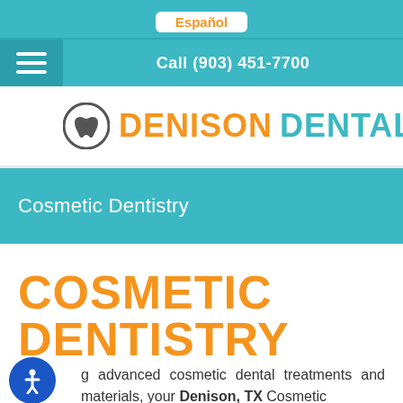Español
Call (903) 451-7700
[Figure (logo): Denison Dental logo with tooth icon, DENISON in orange and DENTAL in teal]
Cosmetic Dentistry
COSMETIC DENTISTRY
g advanced cosmetic dental treatments and materials, your Denison, TX Cosmetic